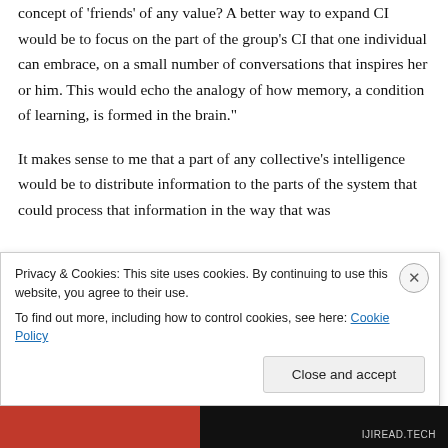concept of 'friends' of any value? A better way to expand CI would be to focus on the part of the group's CI that one individual can embrace, on a small number of conversations that inspires her or him. This would echo the analogy of how memory, a condition of learning, is formed in the brain."
It makes sense to me that a part of any collective's intelligence would be to distribute information to the parts of the system that could process that information in the way that was...
Privacy & Cookies: This site uses cookies. By continuing to use this website, you agree to their use.
To find out more, including how to control cookies, see here: Cookie Policy